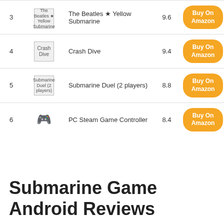| # | Image | Name | Score | Action |
| --- | --- | --- | --- | --- |
| 3 | The Beatles ★ Yellow Submarine | The Beatles ★ Yellow Submarine | 9.6 | Buy On Amazon |
| 4 | Crash Dive | Crash Dive | 9.4 | Buy On Amazon |
| 5 | Submarine Duel (2 players) | Submarine Duel (2 players) | 8.8 | Buy On Amazon |
| 6 | PC Steam Game Controller | PC Steam Game Controller | 8.4 | Buy On Amazon |
Submarine Game Android Reviews